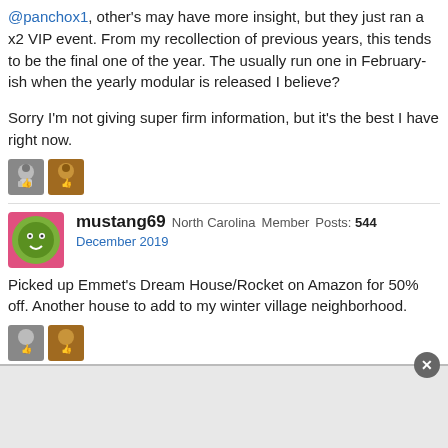@panchox1, other's may have more insight, but they just ran a x2 VIP event. From my recollection of previous years, this tends to be the final one of the year. The usually run one in February-ish when the yearly modular is released I believe?

Sorry I'm not giving super firm information, but it's the best I have right now.
[Figure (illustration): Two reaction/like icons with thumbs up avatars]
mustang69  North Carolina  Member  Posts: 544
December 2019
Picked up Emmet's Dream House/Rocket on Amazon for 50% off. Another house to add to my winter village neighborhood.
[Figure (illustration): Two reaction/like icons with thumbs up avatars]
dmcc0  Nae far fae Aberdeen  Member  Posts: 778
December 2019